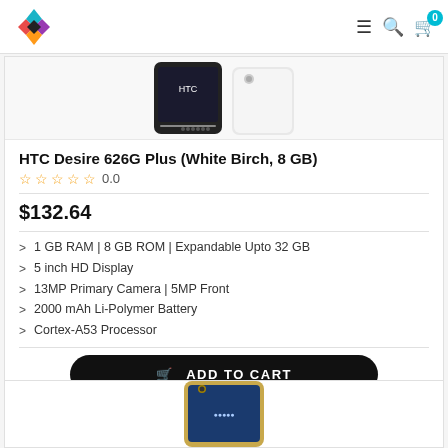Logo, menu, search, cart (0)
[Figure (photo): HTC Desire 626G Plus product images showing front and back of white phone]
HTC Desire 626G Plus (White Birch, 8 GB)
☆ ☆ ☆ ☆ ☆ 0.0
$132.64
1 GB RAM | 8 GB ROM | Expandable Upto 32 GB
5 inch HD Display
13MP Primary Camera | 5MP Front
2000 mAh Li-Polymer Battery
Cortex-A53 Processor
ADD TO CART
[Figure (photo): Gold smartphone product image partially visible at bottom of page]